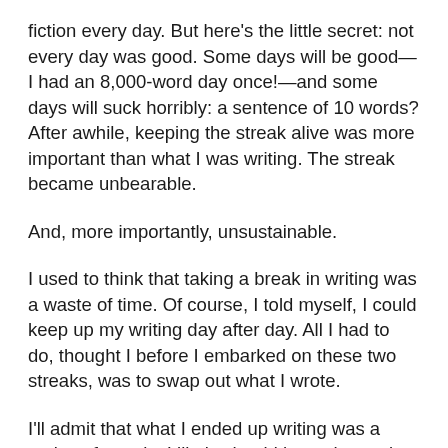fiction every day. But here's the little secret: not every day was good. Some days will be good—I had an 8,000-word day once!—and some days will suck horribly: a sentence of 10 words? After awhile, keeping the streak alive was more important than what I was writing. The streak became unbearable.
And, more importantly, unsustainable.
I used to think that taking a break in writing was a waste of time. Of course, I told myself, I could keep up my writing day after day. All I had to do, thought I before I embarked on these two streaks, was to swap out what I wrote.
I'll admit that what I ended up writing was a series of novels. I likely should have thrown in some short stories to lighten the load, but I didn't. Who knows what could have happened had I done that. Well, I wouldn't have arrived at my new philosophy.
Starting this year, I set an ambitious writing goal. It was based partly on word count but also on more products. As I